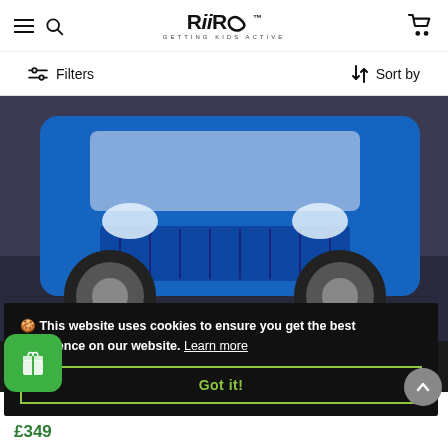RiiRoo — Getting Kids Active — navigation bar with hamburger menu, search, and cart
Filters | Sort by
[Figure (photo): A blue ride-on toy truck (Mercedes-style) shown in close-up from the front, with multiple color variant thumbnails (pink, black, orange, white) shown below it in smaller scale against a dark floor background.]
🍪 This website uses cookies to ensure you get the best experience on our website. Learn more
Got it!
£349